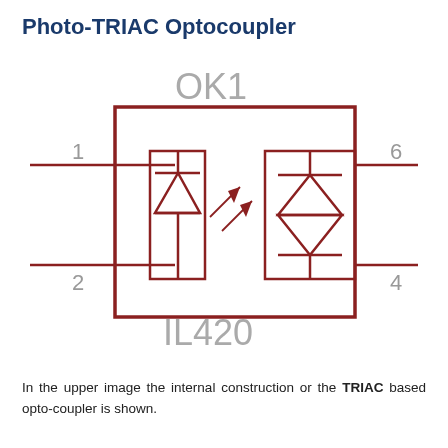Photo-TRIAC Optocoupler
[Figure (circuit-diagram): Circuit symbol diagram of Photo-TRIAC Optocoupler IL420 (labeled OK1). Shows a dark red bordered rectangle containing an LED symbol (diode with downward triangle, pins 1 and 2) on the left, two arrow lines pointing toward a TRIAC symbol on the right (pins 4 and 6). Pin numbers 1, 2 on left side and 6, 4 on right side. Component reference 'OK1' above and 'IL420' below.]
In the upper image the internal construction or the TRIAC based opto-coupler is shown.